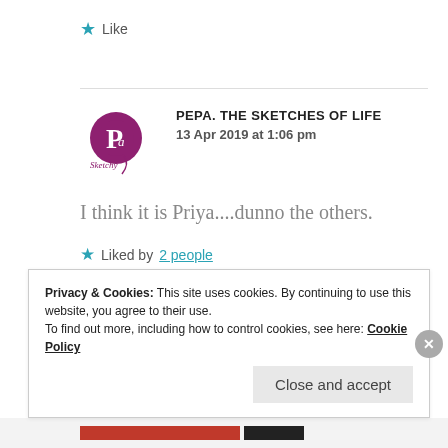★ Like
[Figure (logo): Pepa The Sketches of Life circular logo with purple circle and cursive text]
PEPA. THE SKETCHES OF LIFE
13 Apr 2019 at 1:06 pm
I think it is Priya....dunno the others.
★ Liked by 2 people
Privacy & Cookies: This site uses cookies. By continuing to use this website, you agree to their use.
To find out more, including how to control cookies, see here: Cookie Policy
Close and accept